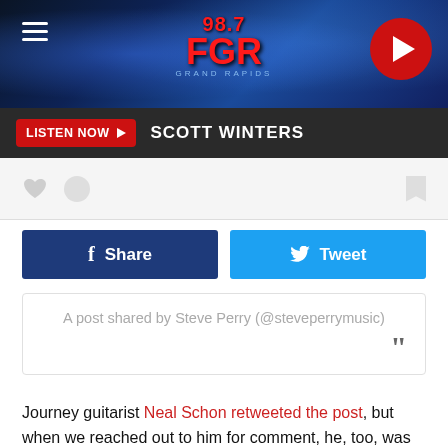[Figure (screenshot): 98.7 FGR Grand Rapids radio station website header banner with blue neon lights background, hamburger menu icon on left, station logo in center, and red circular play button on right]
LISTEN NOW ▶  SCOTT WINTERS
[Figure (screenshot): Social media icons area with heart, circle icons on left and bookmark icon on right, on light gray background]
[Figure (screenshot): Facebook Share button (dark blue) and Twitter Tweet button (light blue) side by side]
A post shared by Steve Perry (@steveperrymusic)
Journey guitarist Neal Schon retweeted the post, but when we reached out to him for comment, he, too, was unsure if it was real.
Perry had hoped to put out a record last year, following the death of his girlfriend. "I met someone and I fell in love with this person," he said. "And I lost this person to breast cancer